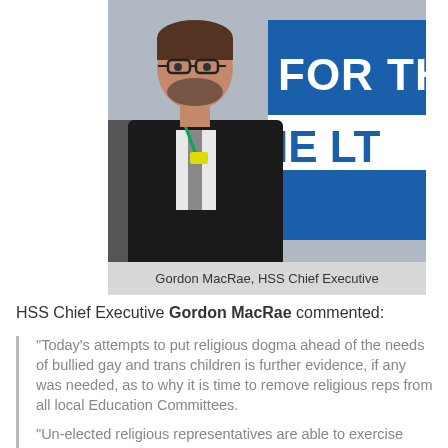[Figure (photo): Photo of Gordon MacRae standing in front of a blue sign reading 'FOR THE LIFE', wearing a dark suit jacket with a lanyard.]
Gordon MacRae, HSS Chief Executive
HSS Chief Executive Gordon MacRae commented:
“Today’s attempts to put religious dogma ahead of the needs of bullied gay and trans children is further evidence, if any was needed, as to why it is time to remove religious reps from all local Education Committees.
“Un-elected religious representatives are able to exercise power without any responsibility. There is nothing to stop church leaders standing for election and to ask voters to support or reject their attempts to put religious dogma ahead of evidence based policy.
“I hope that Highlands and Islands MSPs...